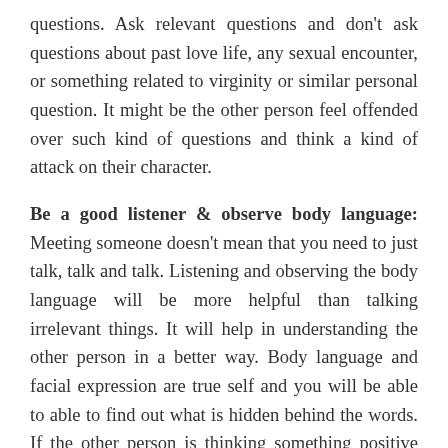questions. Ask relevant questions and don't ask questions about past love life, any sexual encounter, or something related to virginity or similar personal question. It might be the other person feel offended over such kind of questions and think a kind of attack on their character.
Be a good listener & observe body language: Meeting someone doesn't mean that you need to just talk, talk and talk. Listening and observing the body language will be more helpful than talking irrelevant things. It will help in understanding the other person in a better way. Body language and facial expression are true self and you will be able to able to find out what is hidden behind the words. If the other person is thinking something positive about you he/she will give you a smile and will make eye contact with you. But if he/she is not interest in you he will avoid asking many questions and will avoid eye contact as well. So pay attention to body